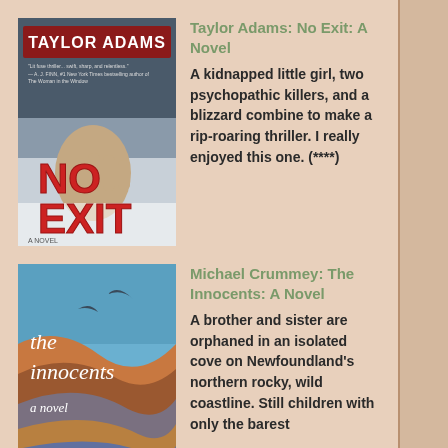[Figure (illustration): Book cover of 'No Exit' by Taylor Adams — shows a hand pressed against snowy/icy surface with red title text]
Taylor Adams: No Exit: A Novel
A kidnapped little girl, two psychopathic killers, and a blizzard combine to make a rip-roaring thriller. I really enjoyed this one. (****)
[Figure (illustration): Book cover of 'The Innocents: A Novel' by Michael Crummey — colorful swirling abstract landscape with white text]
Michael Crummey: The Innocents: A Novel
A brother and sister are orphaned in an isolated cove on Newfoundland's northern rocky, wild coastline. Still children with only the barest notion of the outside world, they have nothing but the family's boat and the little knowledge passed on haphazardly by their mother and father to keep them. (****)